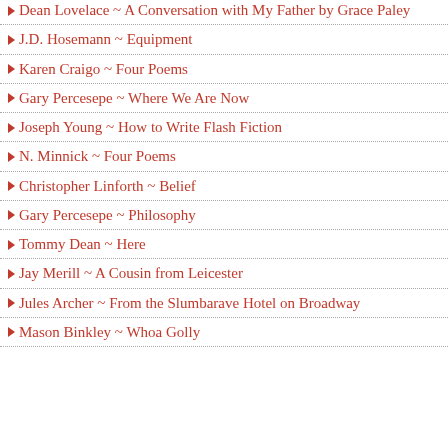Dean Lovelace ~ A Conversation with My Father by Grace Paley
J.D. Hosemann ~ Equipment
Karen Craigo ~ Four Poems
Gary Percesepe ~ Where We Are Now
Joseph Young ~ How to Write Flash Fiction
N. Minnick ~ Four Poems
Christopher Linforth ~ Belief
Gary Percesepe ~ Philosophy
Tommy Dean ~ Here
Jay Merill ~ A Cousin from Leicester
Jules Archer ~ From the Slumbarave Hotel on Broadway
Mason Binkley ~ Whoa Golly